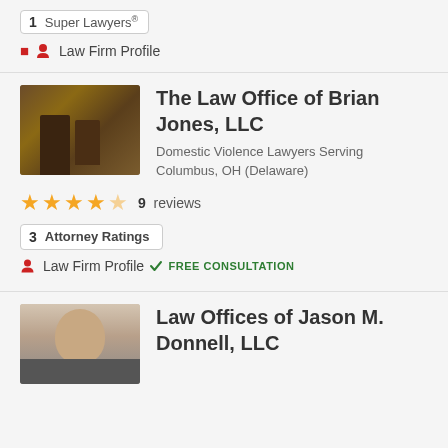1  Super Lawyers®
🧑 Law Firm Profile
The Law Office of Brian Jones, LLC
Domestic Violence Lawyers Serving Columbus, OH (Delaware)
★★★★☆  9  reviews
3  Attorney Ratings
🧑 Law Firm Profile
✓ FREE CONSULTATION
[Figure (photo): Photo of law office with two lawyers at a desk]
Law Offices of Jason M. Donnell, LLC
[Figure (photo): Headshot photo of attorney Jason M. Donnell]